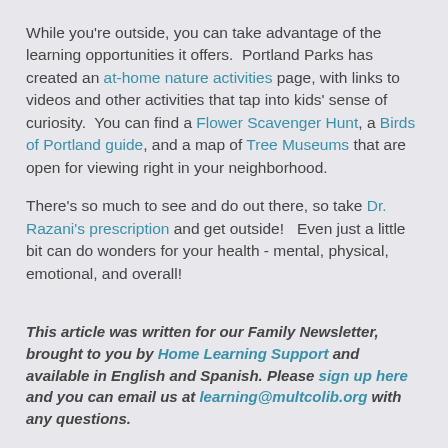While you're outside, you can take advantage of the learning opportunities it offers.  Portland Parks has created an at-home nature activities page, with links to videos and other activities that tap into kids' sense of curiosity.  You can find a Flower Scavenger Hunt, a Birds of Portland guide, and a map of Tree Museums that are open for viewing right in your neighborhood.
There's so much to see and do out there, so take Dr. Razani's prescription and get outside!   Even just a little bit can do wonders for your health - mental, physical, emotional, and overall!
This article was written for our Family Newsletter, brought to you by Home Learning Support and available in English and Spanish. Please sign up here and you can email us at learning@multcolib.org with any questions.